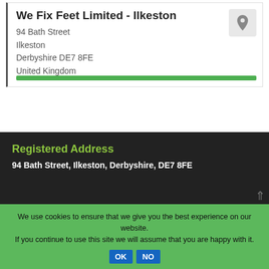We Fix Feet Limited - Ilkeston
94 Bath Street
Ilkeston
Derbyshire DE7 8FE
United Kingdom
Registered Address
94 Bath Street, Ilkeston, Derbyshire, DE7 8FE
We use cookies to ensure that we give you the best experience on our website.
If you continue to use this site we will assume that you are happy with it.
OK   NO